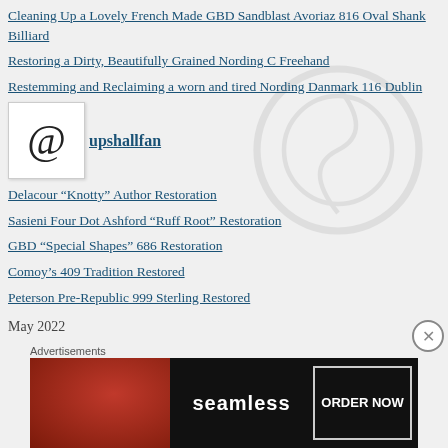Cleaning Up a Lovely French Made GBD Sandblast Avoriaz 816 Oval Shank Billiard
Restoring a Dirty, Beautifully Grained Nording C Freehand
Restemming and Reclaiming a worn and tired Nording Danmark 116 Dublin
[Figure (logo): @ symbol icon in a white box]
upshallfan
Delacour “Knotty” Author Restoration
Sasieni Four Dot Ashford “Ruff Root” Restoration
GBD “Special Shapes” 686 Restoration
Comoy’s 409 Tradition Restored
Peterson Pre-Republic 999 Sterling Restored
May 2022
Advertisements
[Figure (photo): Seamless food delivery advertisement banner with pizza image and ORDER NOW button]